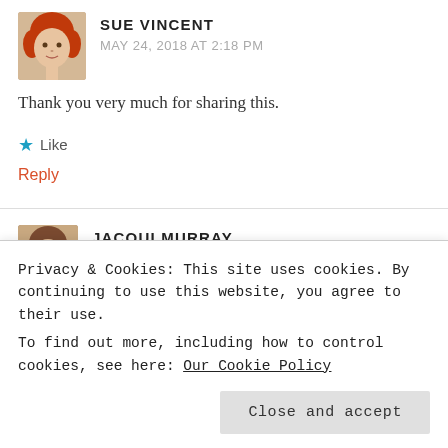[Figure (photo): Avatar photo of Sue Vincent, woman with red/auburn hair]
SUE VINCENT
MAY 24, 2018 AT 2:18 PM
Thank you very much for sharing this.
Like
Reply
[Figure (photo): Avatar photo of Jacqui Murray, woman with brown hair]
JACQUI MURRAY
MAY 24, 2018 AT 4:01 PM
Privacy & Cookies: This site uses cookies. By continuing to use this website, you agree to their use.
To find out more, including how to control cookies, see here: Our Cookie Policy
Close and accept
Like